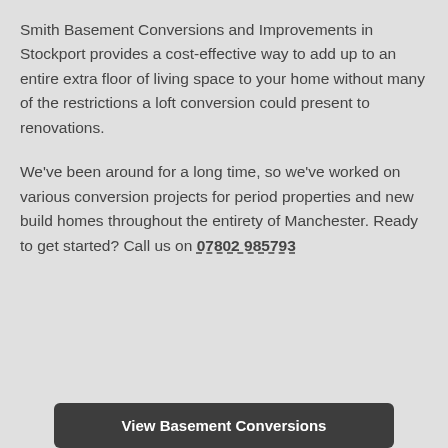Smith Basement Conversions and Improvements in Stockport provides a cost-effective way to add up to an entire extra floor of living space to your home without many of the restrictions a loft conversion could present to renovations.
We've been around for a long time, so we've worked on various conversion projects for period properties and new build homes throughout the entirety of Manchester. Ready to get started? Call us on 07802 985793
View Basement Conversions